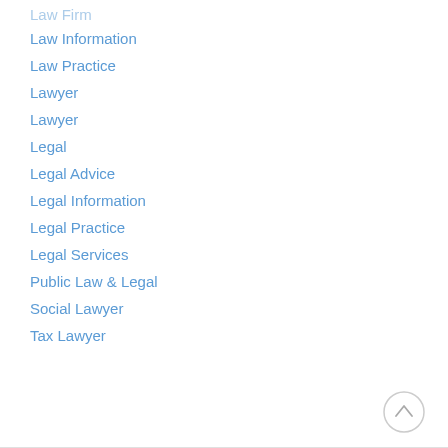Law Firm
Law Information
Law Practice
Lawyer
Lawyer
Legal
Legal Advice
Legal Information
Legal Practice
Legal Services
Public Law & Legal
Social Lawyer
Tax Lawyer